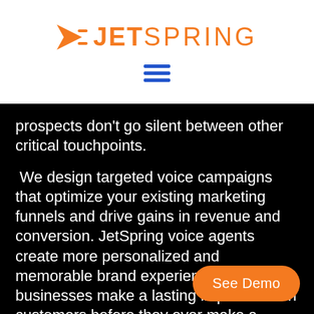[Figure (logo): JetSpring logo with orange arrow/play icon and orange text reading JETSPRING]
[Figure (other): Blue hamburger menu icon with three horizontal lines]
prospects don't go silent between other critical touchpoints.
We design targeted voice campaigns that optimize your existing marketing funnels and drive gains in revenue and conversion. JetSpring voice agents create more personalized and memorable brand experiences, helping businesses make a lasting impression on customers before they ever make a purchase.
See Demo